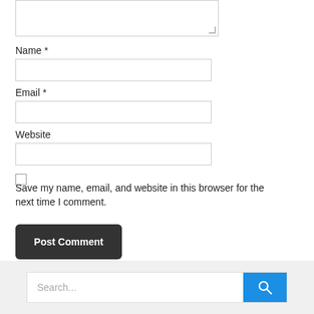[textarea]
Name *
[name input]
Email *
[email input]
Website
[website input]
Save my name, email, and website in this browser for the next time I comment.
Post Comment
Search...